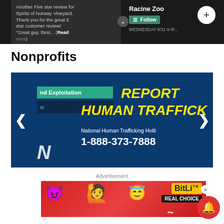[Figure (screenshot): Top dark-background social media screenshot showing Spirits of Norway Vineyard review text on left and Racine Zoo page with Follow button on right, with a down arrow and plus button]
Nonprofits
[Figure (screenshot): Blue background image with teal bar reading 'nd Exploitation', text REPORT HUMAN TRAFFICK in yellow bold italic, National Human Trafficking Hotline text, phone number 1-888-373-7888, left and right navigation arrows, N letter watermark]
Advertisement
[Figure (screenshot): Red advertisement banner for BitLife showing emoji characters (devil, person with raised hands, angel emoji) and BitLife logo with REAL CHOICE text]